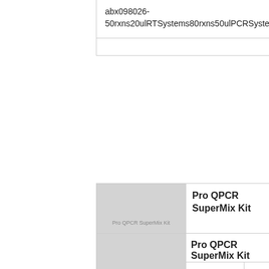| abx098026-50rxns20ulRTSystems80rxns50ulPCRSystems |
|  |
|  | Pro QPCR SuperMix Kit |
| --- | --- |
| K5053200 | Biochain | 20 |
| Description: Premade ready to use kits will alwa done right form the first try by using a validated proportions and compatibility and by following a |
|  | Pro QPCR SuperMix Kit |
| --- | --- |